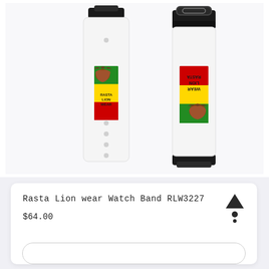[Figure (photo): Product photo showing two Rasta Lion Wear Watch Bands. Left band is white with Rasta lion logo (red/yellow/green stripes with lion and text RASTA LION WEAR) and adjustment holes. Right band shows the back/reversed view with black buckle hardware at top and bottom.]
Rasta Lion wear Watch Band RLW3227
$64.00